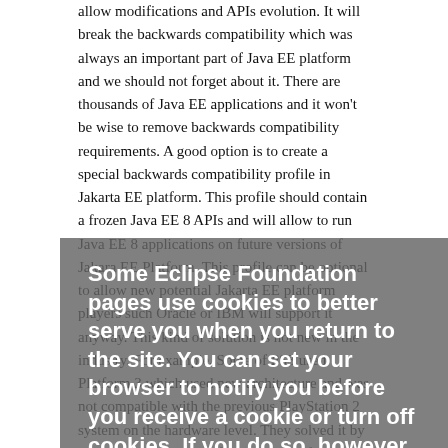allow modifications and APIs evolution. It will break the backwards compatibility which was always an important part of Java EE platform and we should not forget about it. There are thousands of Java EE applications and it won't be wise to remove backwards compatibility requirements. A good option is to create a special backwards compatibility profile in Jakarta EE platform. This profile should contain a frozen Java EE 8 APIs and will allow to run Java EE 8 applications on future versions of Jakara EE Platform. This profile can be optional to allow new potential Jakarta EE platform players such Oracle or IBM will support it anyway. This kind of solution is not new in the industry. For example, Some of PS3 used Platform 3 which used new architecture and was not compatible with the previous PlayStation 2 system on the hardware level. They solved it by adding PS2 chip to the first versions of PS3 consoles allowed to run PS2 games on it. Another sample is a process of changing CPU in Apple Macintosh computers from PowerPC to Intel. They provided a simulator allowing running PowerPC application on new Intel based computers for some limited time until most of the
[Figure (screenshot): Cookie consent overlay with title 'Some Eclipse Foundation pages use cookies to better serve you when you return to the site. You can set your browser to notify you before you receive a cookie or turn off cookies. If you do so, however, some areas of some sites may not function properly. To read Eclipse Foundation Privacy Policy click here.' with Decline and Allow cookies buttons.]